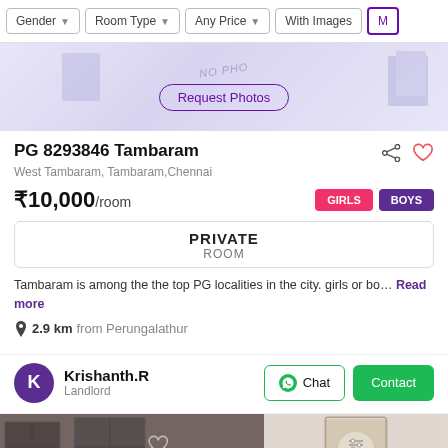Gender | Room Type | Any Price | With Images | Me
[Figure (photo): Hero image placeholder with 'NO PHO' text watermark and Request Photos button]
PG 8293846 Tambaram
West Tambaram, Tambaram, Chennai
₹10,000/room
GIRLS  BOYS
PRIVATE ROOM
Tambaram is among the the top PG localities in the city. girls or bo… Read more
2.9 km from Perungalathur
Krishanth.R
Landlord
[Figure (photo): Interior room photos showing window with iron grills and a door]